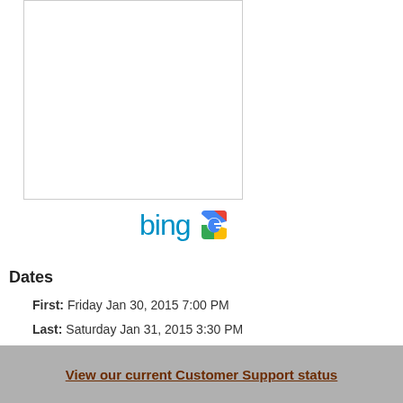[Figure (other): White rectangular image box with light gray border]
[Figure (logo): Bing text logo in blue and Google 'g' icon logo side by side]
Dates
First: Friday Jan 30, 2015 7:00 PM
Last: Saturday Jan 31, 2015 3:30 PM
Prices
View our current Customer Support status